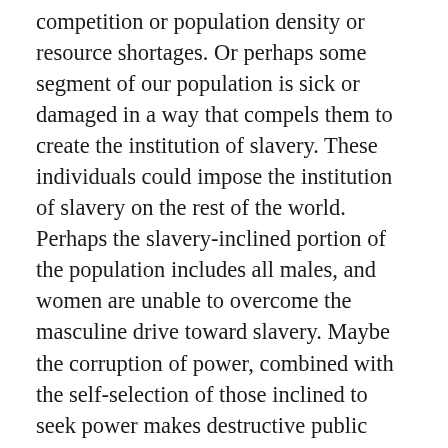competition or population density or resource shortages. Or perhaps some segment of our population is sick or damaged in a way that compels them to create the institution of slavery. These individuals could impose the institution of slavery on the rest of the world. Perhaps the slavery-inclined portion of the population includes all males, and women are unable to overcome the masculine drive toward slavery. Maybe the corruption of power, combined with the self-selection of those inclined to seek power makes destructive public policies inevitable. Maybe the influence of profiteers and the skill of propagandists render us helpless to resist. Or perhaps a large portion of the globe could be organized to end slavery, but some other society would always bring slavery back like a contagious disease, and ending it simultaneously everywhere would just not be feasible. Maybe capitalism inevitably produces slavery, and capitalism is itself inevitable. Maybe human destructiveness targeted toward the natural environment necessitates slavery. Maybe